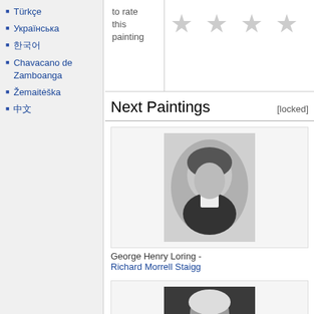Türkçe
Українська
한국어
Chavacano de Zamboanga
Žemaitėška
中文
to rate this painting
Next Paintings [locked]
[Figure (photo): Black and white oval portrait photograph of George Henry Loring]
George Henry Loring - Richard Morrell Staigg
[Figure (photo): Black and white portrait painting of an older person with white wig]